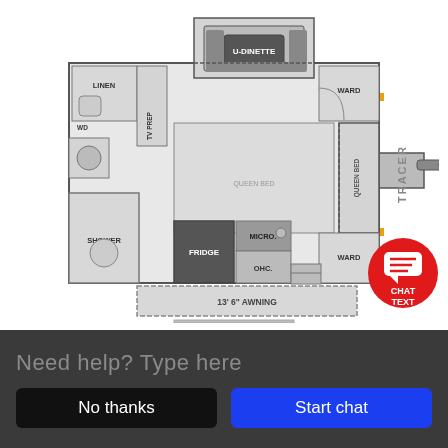[Figure (schematic): RV/Travel trailer floor plan showing top-down view labeled 'TRACER'. Contains: U-DINETTE slide-out at top center, LINEN closet top-left, TV PREP, WARD (wardrobe) top-right and bottom-right, QUEEN BED slide-out center-right, WD (washer/dryer) left, SHOWER bottom-left, FRIDGE, MICRO (microwave), OHC (overhead cabinet), 13'6" AWNING at bottom. A second partial floor plan visible below.]
Need help? Type here
No thanks
Start chat